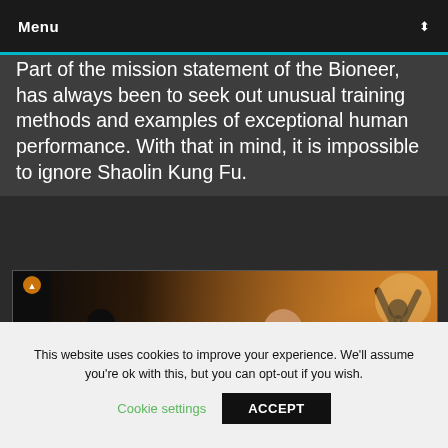Menu
Part of the mission statement of the Bioneer, has always been to seek out unusual training methods and examples of exceptional human performance. With that in mind, it is impossible to ignore Shaolin Kung Fu.
[Figure (photo): Promotional image for 'Secrets of Shaolin Training' showing a monk in orange robes in a martial arts pose with a silhouette in the background. Text overlay reads 'Secrets of SHAOLIN TRAINING'.]
This website uses cookies to improve your experience. We'll assume you're ok with this, but you can opt-out if you wish.
Cookie settings   ACCEPT